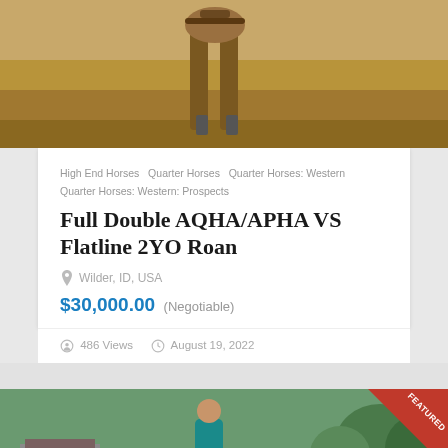[Figure (photo): Close-up photo of a horse's legs from below, with sandy/dirt ground background]
High End Horses   Quarter Horses   Quarter Horses: Western   Quarter Horses: Western: Prospects
FULL Double AQHA/APHA VS Flatline 2YO Roan
Wilder, ID, USA
$30,000.00 (Negotiable)
486 Views   August 19, 2022
[Figure (photo): Outdoor photo of a person in teal clothing leading a dark horse at what appears to be a horse show or competition, with a yellow Jeep and trucks visible in the background. A red FEATURED ribbon badge is overlaid in the top-right corner.]